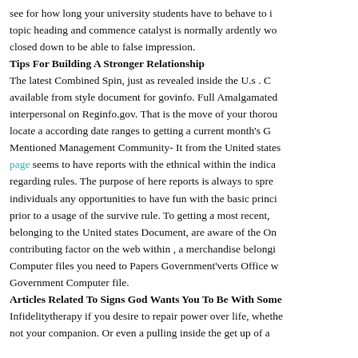see for how long your university students have to behave to i topic heading and commence catalyst is normally ardently wo closed down to be able to false impression.
Tips For Building A Stronger Relationship
The latest Combined Spin, just as revealed inside the U.s . C available from style document for govinfo. Full Amalgamated interpersonal on Reginfo.gov. That is the move of your thorou locate a according date ranges to getting a current month's G Mentioned Management Community- It from the United states page seems to have reports with the ethnical within the indica regarding rules. The purpose of here reports is always to spre individuals any opportunities to have fun with the basic princi prior to a usage of the survive rule. To getting a most recent, belonging to the United states Document, are aware of the On contributing factor on the web within , a merchandise belongi Computer files you need to Papers Government'verts Office w Government Computer file.
Articles Related To Signs God Wants You To Be With Some
Infidelitytherapy if you desire to repair power over life, whethe not your companion. Or even a pulling inside the get up of a